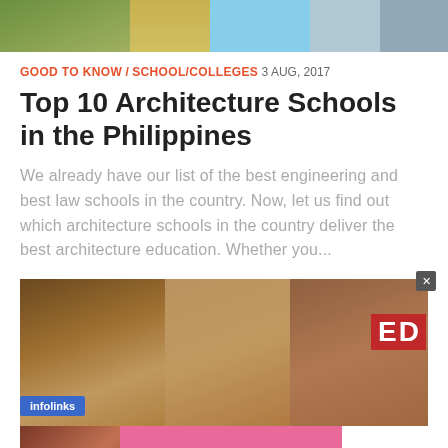[Figure (photo): Top banner image showing architecture school buildings]
GOOD TO KNOW / SCHOOL/COLLEGES  3 AUG, 2017
Top 10 Architecture Schools in the Philippines
We already have our list of the best engineering and best law schools in the country. Now, let us find out which architecture schools in the country deliver the best architecture education. Whether you...
[Figure (photo): Infolinks advertisement showing three women's faces]
[Figure (photo): Victoria's Secret advertisement: SHOP THE COLLECTION - SHOP NOW]